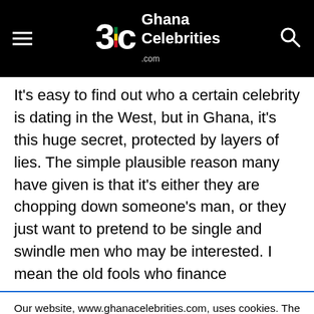Ghana Celebrities .com
It’s easy to find out who a certain celebrity is dating in the West, but in Ghana, it’s this huge secret, protected by layers of lies. The simple plausible reason many have given is that it’s either they are chopping down someone’s man, or they just want to pretend to be single and swindle men who may be interested. I mean the old fools who finance
Our website, www.ghanacelebrities.com, uses cookies. The website uses analytical cookies to check the behavior of visitors and to improve the website on the basis of these data. In addition, third parties place tracking cookies to show personalized advertisements. Do not want to accept all cookies?